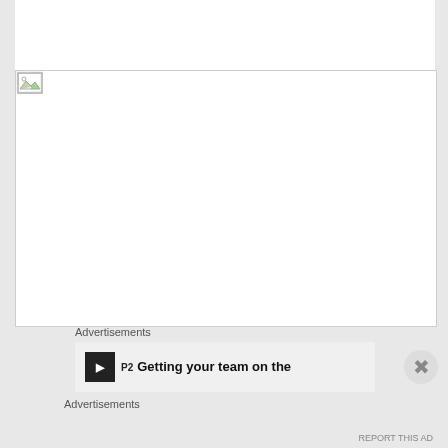[Figure (illustration): Broken image placeholder icon in top-left corner of a white content area with a thin gray border line spanning the width]
Advertisements
[Figure (infographic): Advertisement banner with P2 logo icon on left and bold headline text: Getting your team on the [next line cut off]]
Advertisements
REPORT THIS AD